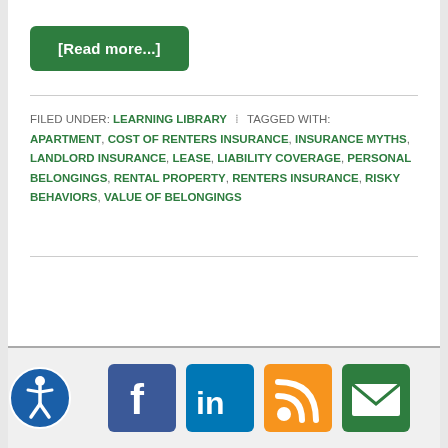[Read more...]
FILED UNDER: LEARNING LIBRARY  ·  TAGGED WITH: APARTMENT, COST OF RENTERS INSURANCE, INSURANCE MYTHS, LANDLORD INSURANCE, LEASE, LIABILITY COVERAGE, PERSONAL BELONGINGS, RENTAL PROPERTY, RENTERS INSURANCE, RISKY BEHAVIORS, VALUE OF BELONGINGS
[Figure (infographic): Social media sharing icons: Facebook (blue square with white f), LinkedIn (blue square with white in), RSS feed (orange square with white wifi/rss symbol), Email (green square with white envelope). Also an accessibility icon (circular blue badge with person symbol) in the lower left.]